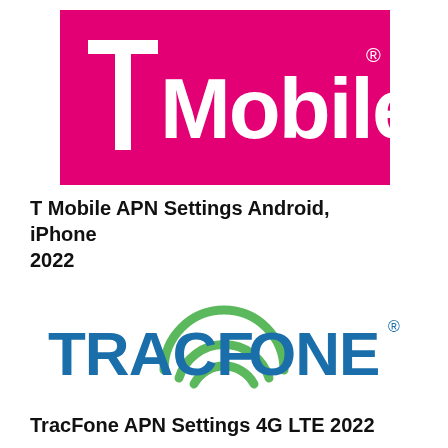[Figure (logo): T-Mobile logo: magenta/pink rectangle with white T and 'Mobile' text and registered trademark symbol]
T Mobile APN Settings Android, iPhone 2022
[Figure (logo): TracFone logo: blue bold TRACFONE text with green circular signal arc above the O, registered trademark symbol]
TracFone APN Settings 4G LTE 2022